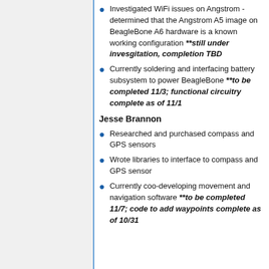Investigated WiFi issues on Angstrom - determined that the Angstrom A5 image on BeagleBone A6 hardware is a known working configuration **still under invesgitation, completion TBD
Currently soldering and interfacing battery subsystem to power BeagleBone **to be completed 11/3; functional circuitry complete as of 11/1
Jesse Brannon
Researched and purchased compass and GPS sensors
Wrote libraries to interface to compass and GPS sensor
Currently coo-developing movement and navigation software **to be completed 11/7; code to add waypoints complete as of 10/31